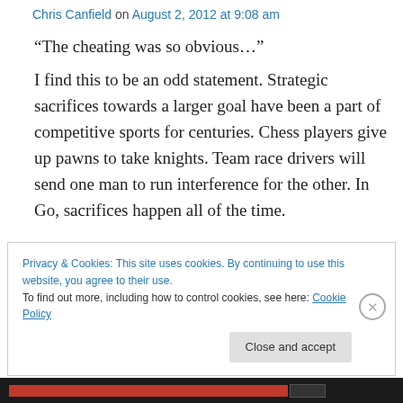Chris Canfield on August 2, 2012 at 9:08 am
“The cheating was so obvious…”
I find this to be an odd statement. Strategic sacrifices towards a larger goal have been a part of competitive sports for centuries. Chess players give up pawns to take knights. Team race drivers will send one man to run interference for the other. In Go, sacrifices happen all of the time.
Privacy & Cookies: This site uses cookies. By continuing to use this website, you agree to their use.
To find out more, including how to control cookies, see here: Cookie Policy